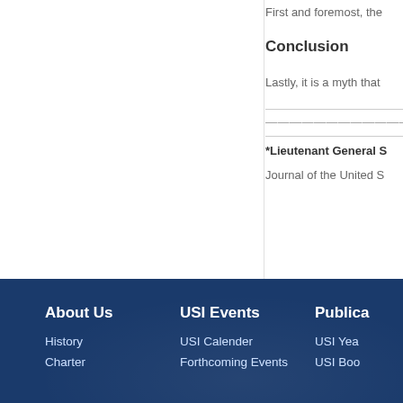First and foremost, the
Conclusion
Lastly, it is a myth that
————————————
*Lieutenant General S
Journal of the United S
About Us
History
Charter
USI Events
USI Calender
Forthcoming Events
Publica
USI Yea
USI Boo